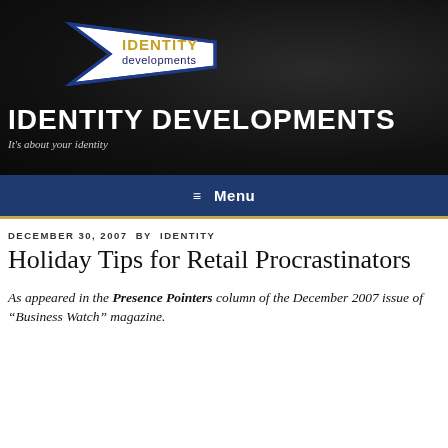[Figure (logo): Identity Developments logo — white arrow/wing shape with blue outline pointing right, containing the text IDENTITY developments]
IDENTITY DEVELOPMENTS
It's about your identity
≡ Menu
DECEMBER 30, 2007 BY IDENTITY
Holiday Tips for Retail Procrastinators
As appeared in the Presence Pointers column of the December 2007 issue of "Business Watch" magazine.